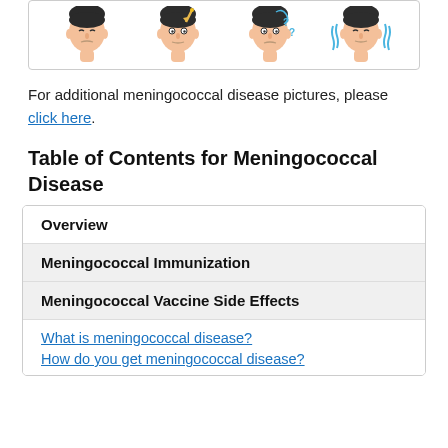[Figure (illustration): Row of four illustrated male faces showing different symptoms or stages of meningococcal disease]
For additional meningococcal disease pictures, please click here.
Table of Contents for Meningococcal Disease
| Overview |
| Meningococcal Immunization |
| Meningococcal Vaccine Side Effects |
| What is meningococcal disease? | How do you get meningococcal disease? |
What is meningococcal disease?
How do you get meningococcal disease?